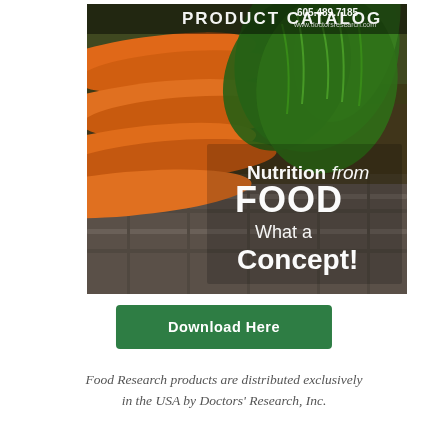[Figure (illustration): Product catalog cover image showing fresh carrots with green tops on a stone background. Text on image reads: PRODUCT CATALOG, 605.489.7185, www.doctorsresearch.com, Nutrition from FOOD What a Concept!]
Download Here
Food Research products are distributed exclusively in the USA by Doctors' Research, Inc.